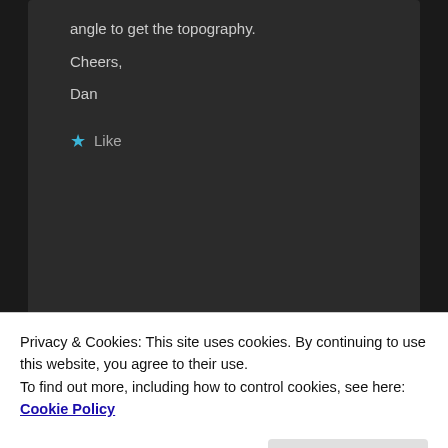angle to get the topography.
Cheers,
Dan
Like
John D Alexander
on December 3, 2019 at 2:52 pm said:
Privacy & Cookies: This site uses cookies. By continuing to use this website, you agree to their use.
To find out more, including how to control cookies, see here: Cookie Policy
Close and accept